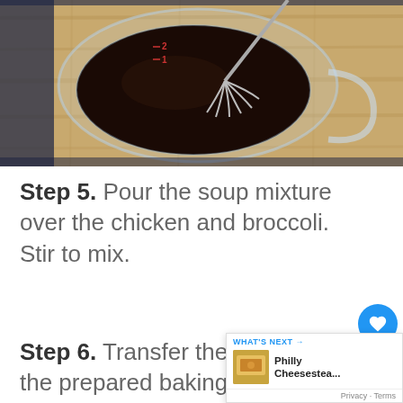[Figure (photo): Overhead view of a glass measuring cup with dark liquid (sauce mixture) and a metal whisk on a wooden cutting board]
Step 5. Pour the soup mixture over the chicken and broccoli. Stir to mix.
Step 6. Transfer the mixture the prepared baking dish. Work the